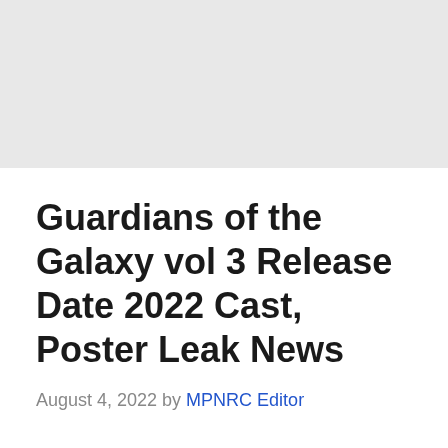[Figure (other): Gray banner placeholder image at the top of the page]
Guardians of the Galaxy vol 3 Release Date 2022 Cast, Poster Leak News
August 4, 2022 by MPNRC Editor